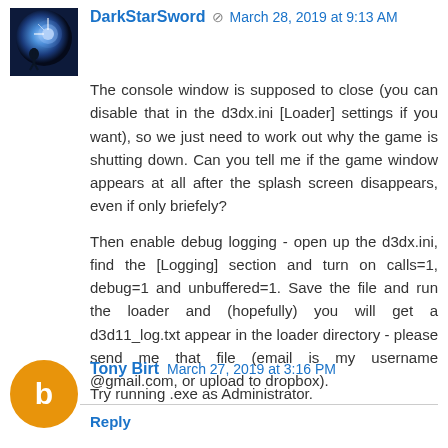[Figure (photo): Avatar image for DarkStarSword - dark blue/black sci-fi themed image]
DarkStarSword  March 28, 2019 at 9:13 AM
The console window is supposed to close (you can disable that in the d3dx.ini [Loader] settings if you want), so we just need to work out why the game is shutting down. Can you tell me if the game window appears at all after the splash screen disappears, even if only briefely?

Then enable debug logging - open up the d3dx.ini, find the [Logging] section and turn on calls=1, debug=1 and unbuffered=1. Save the file and run the loader and (hopefully) you will get a d3d11_log.txt appear in the loader directory - please send me that file (email is my username @gmail.com, or upload to dropbox).
Reply
[Figure (illustration): Avatar for Tony Birt - orange circle with white letter b (Blogger icon)]
Tony Birt  March 27, 2019 at 3:16 PM
Try running .exe as Administrator.